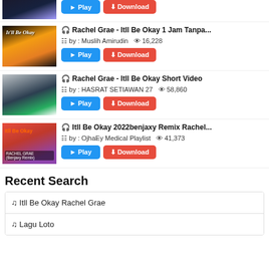[Partial row with Play and Download buttons]
Rachel Grae - Itll Be Okay 1 Jam Tanpa... by : Muslih Amirudin  16,228
Rachel Grae - Itll Be Okay Short Video by : HASRAT SETIAWAN 27  58,860
Itll Be Okay 2022benjaxy Remix Rachel... by : OjhaEy Medical Playlist  41,373
Recent Search
Itll Be Okay Rachel Grae
Lagu Loto